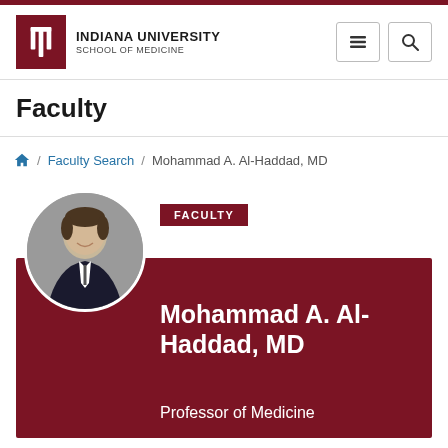INDIANA UNIVERSITY SCHOOL OF MEDICINE
Faculty
Home / Faculty Search / Mohammad A. Al-Haddad, MD
[Figure (photo): Circular headshot photo of Mohammad A. Al-Haddad, MD, a man in a dark suit and tie, smiling, against a gray background.]
FACULTY
Mohammad A. Al-Haddad, MD
Professor of Medicine